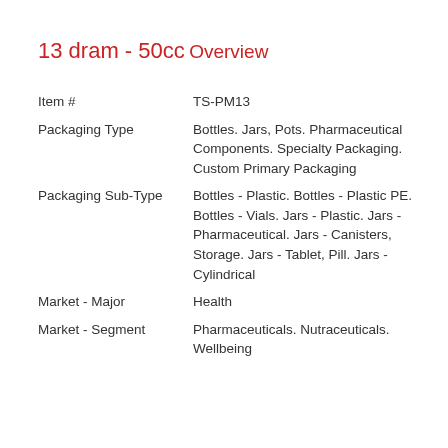13 dram - 50cc
Overview
| Field | Value |
| --- | --- |
| Item # | TS-PM13 |
| Packaging Type | Bottles. Jars, Pots. Pharmaceutical Components. Specialty Packaging. Custom Primary Packaging |
| Packaging Sub-Type | Bottles - Plastic. Bottles - Plastic PE. Bottles - Vials. Jars - Plastic. Jars - Pharmaceutical. Jars - Canisters, Storage. Jars - Tablet, Pill. Jars - Cylindrical |
| Market - Major | Health |
| Market - Segment | Pharmaceuticals. Nutraceuticals. Wellbeing |